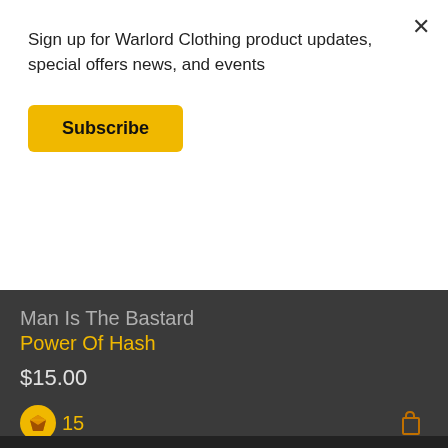Sign up for Warlord Clothing product updates, special offers news, and events
Subscribe
[Figure (photo): Black t-shirt with text 'THE POWER OF HASH' displayed on a dark background]
Man Is The Bastard
Power Of Hash
$15.00
15